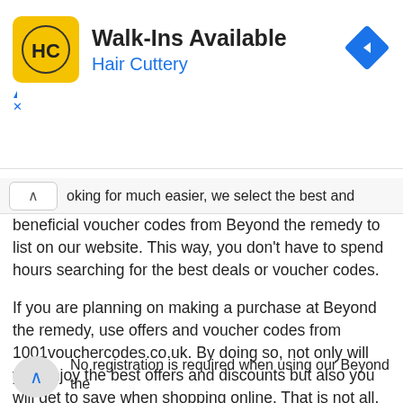[Figure (logo): Hair Cuttery advertisement banner with HC logo, 'Walk-Ins Available' title, 'Hair Cuttery' subtitle in blue, and a blue diamond navigation icon on the right.]
oking for much easier, we select the best and beneficial voucher codes from Beyond the remedy to list on our website. This way, you don't have to spend hours searching for the best deals or voucher codes.
If you are planning on making a purchase at Beyond the remedy, use offers and voucher codes from 1001vouchercodes.co.uk. By doing so, not only will you enjoy the best offers and discounts but also you will get to save when shopping online. That is not all. All our voucher codes are free to use!
No registration is required when using our Beyond the